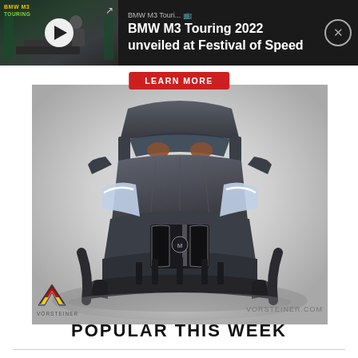[Figure (screenshot): Video notification bar showing BMW M3 Touring video thumbnail with play button on dark background, with title text 'BMW M3 Touring 2022 unveiled at Festival of Speed' and a close button]
[Figure (photo): Front-facing photo of a dark grey BMW M3 with Vorsteiner wide-body kit on grey gradient background, Vorsteiner logo bottom left, vorsteiner.com bottom right, with a red 'LEARN MORE' button at top]
POPULAR THIS WEEK